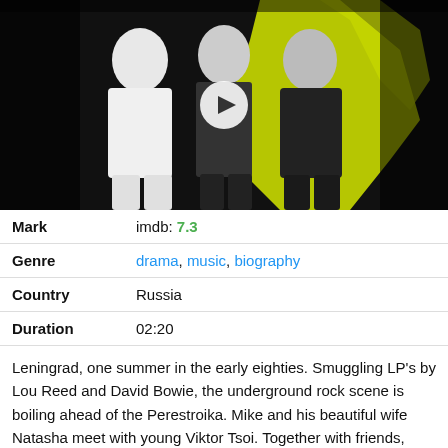[Figure (photo): Movie promotional image showing three people standing against a wall with yellow graffiti, black and white style with yellow highlights. A play button overlay is visible in the center.]
| Mark | imdb: 7.3 |
| Genre | drama, music, biography |
| Country | Russia |
| Duration | 02:20 |
Leningrad, one summer in the early eighties. Smuggling LP's by Lou Reed and David Bowie, the underground rock scene is boiling ahead of the Perestroika. Mike and his beautiful wife Natasha meet with young Viktor Tsoi. Together with friends, they will change the destiny of rock'n'roll in the Soviet Union.